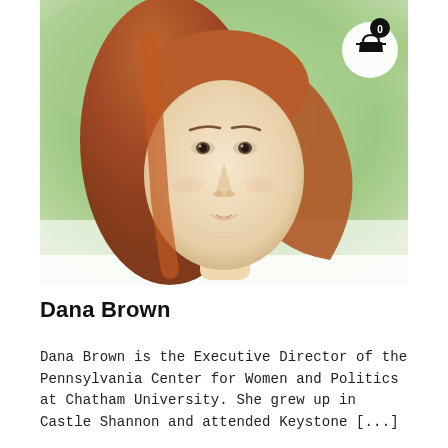[Figure (illustration): Digital illustration portrait of Dana Brown — a woman with shoulder-length auburn/red hair, light skin, subtle smile, against a soft green watercolor background. A shopping cart badge icon (showing count '0') appears in the upper-right corner of the image.]
Dana Brown
Dana Brown is the Executive Director of the Pennsylvania Center for Women and Politics at Chatham University. She grew up in Castle Shannon and attended Keystone [...]